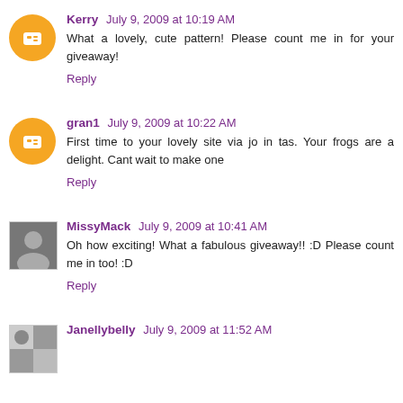Kerry July 9, 2009 at 10:19 AM
What a lovely, cute pattern! Please count me in for your giveaway!
Reply
gran1 July 9, 2009 at 10:22 AM
First time to your lovely site via jo in tas. Your frogs are a delight. Cant wait to make one
Reply
MissyMack July 9, 2009 at 10:41 AM
Oh how exciting! What a fabulous giveaway!! :D Please count me in too! :D
Reply
Janellybelly July 9, 2009 at 11:52 AM